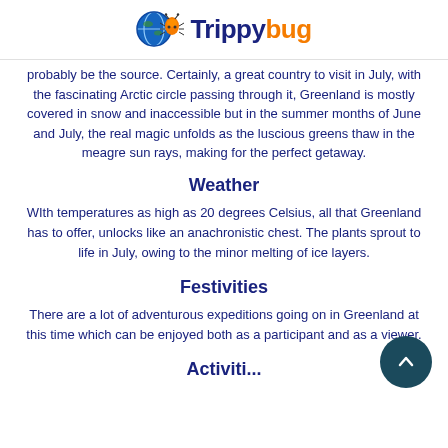Trippybug
probably be the source. Certainly, a great country to visit in July, with the fascinating Arctic circle passing through it, Greenland is mostly covered in snow and inaccessible but in the summer months of June and July, the real magic unfolds as the luscious greens thaw in the meagre sun rays, making for the perfect getaway.
Weather
With temperatures as high as 20 degrees Celsius, all that Greenland has to offer, unlocks like an anachronistic chest. The plants sprout to life in July, owing to the minor melting of ice layers.
Festivities
There are a lot of adventurous expeditions going on in Greenland at this time which can be enjoyed both as a participant and as a viewer.
Activities